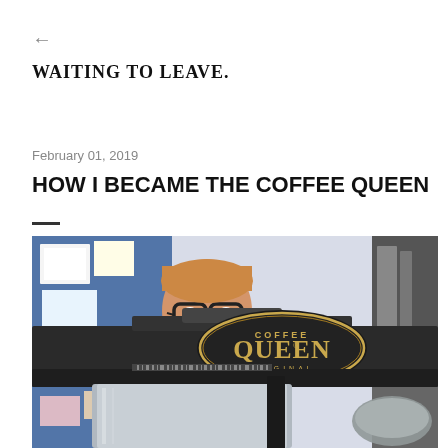←
WAITING TO LEAVE.
February 01, 2019
HOW I BECAME THE COFFEE QUEEN
[Figure (photo): Photo of a person wearing glasses looking over a Coffee Queen Original coffee machine brewer, with a colorful wall of papers and drawings in the background.]